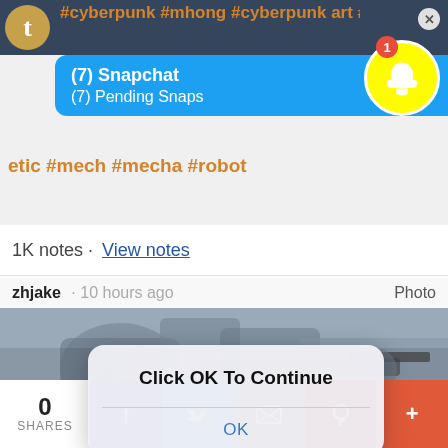[Figure (screenshot): Tumblr mobile app screenshot showing hashtags in orange (#cyberpunk art, #mech, #mecha, #robot), a Snapchat notification overlay showing '(7) Snapchat' and '(7) Pending Snaps' in blue, Snapchat icon with badge showing 1, a close X button, notes count '1K notes · View notes', post by 'zhjake', a grayscale mechanical robot illustration, a modal dialog saying 'Click OK To Continue' with 'OK' button, and a social share bar at bottom with 0 shares, Facebook, Twitter, email, Pinterest, and more buttons.]